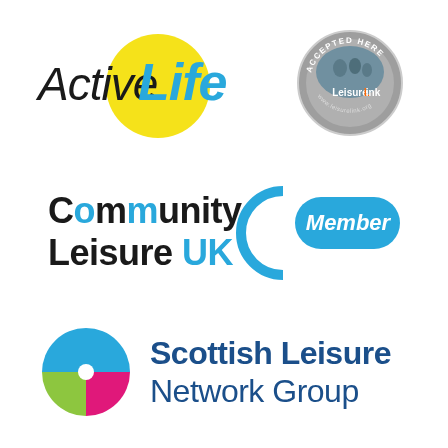[Figure (logo): ActiveLife logo with yellow circle and blue 'Life' text]
[Figure (logo): LeisureLink 'Accepted Here' circular badge with grey/silver border]
[Figure (logo): Community Leisure UK Member logo with blue pill shape and circular arc]
[Figure (logo): Scottish Leisure Network Group logo with coloured X pinwheel icon in cyan, magenta, yellow-green, and blue]